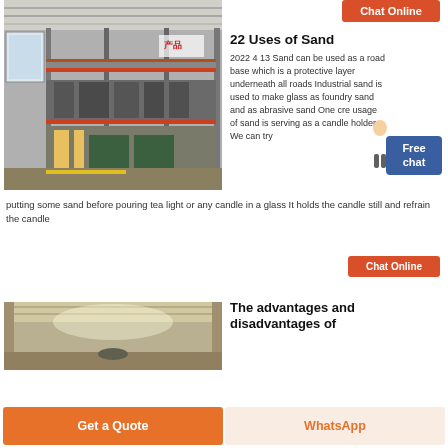Chat Online
[Figure (photo): Industrial factory interior with multi-level steel structures, conveyor lines, and red/orange overhead beams]
22 Uses of Sand
2022 4 13 Sand can be used as a road base which is a protective layer underneath all roads Industrial sand is used to make glass as foundry sand and as abrasive sand One cre usage of sand is serving as a candle holder We can try putting some sand before pouring tea light or any candle in a glass It holds the candle still and refrain the candle
Chat Online
[Figure (photo): Warehouse or industrial building interior with high ceiling and dim lighting]
The advantages and disadvantages of
Get a Quote  WhatsApp